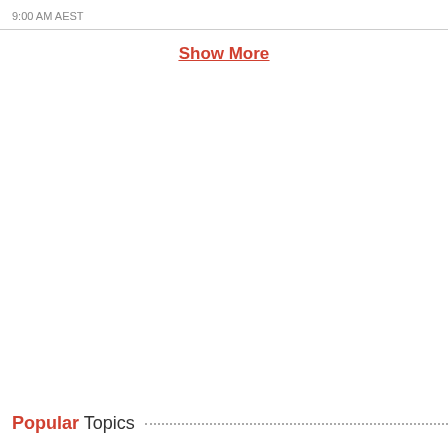9:00 AM AEST
Show More
Popular Topics